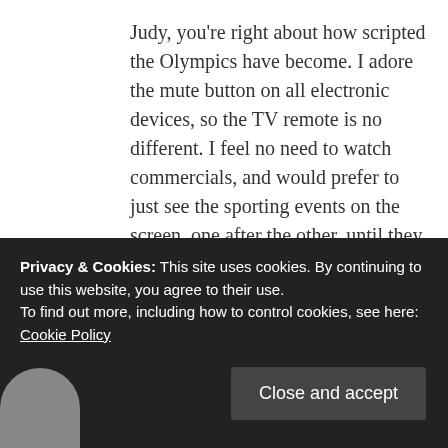Judy, you're right about how scripted the Olympics have become. I adore the mute button on all electronic devices, so the TV remote is no different. I feel no need to watch commercials, and would prefer to just see the sporting events on the screen, one after the other, until they were all over. Kind of a 24/7 Olympics channel, free from gibber gabber. Like my idea will ever happen...
★ Liked by 1 person
Privacy & Cookies: This site uses cookies. By continuing to use this website, you agree to their use.
To find out more, including how to control cookies, see here: Cookie Policy
Close and accept